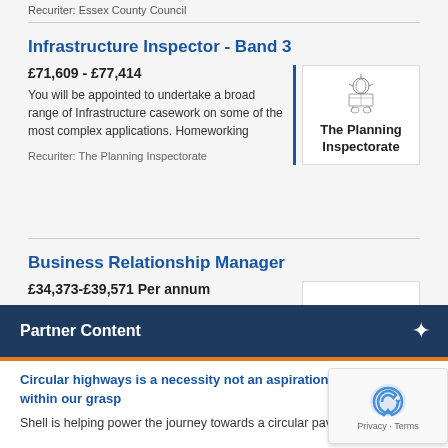Recuriter: Essex County Council
Infrastructure Inspector - Band 3
£71,609 - £77,414
You will be appointed to undertake a broad range of Infrastructure casework on some of the most complex applications. Homeworking
[Figure (logo): The Planning Inspectorate logo with royal crest]
Recuriter: The Planning Inspectorate
Business Relationship Manager
£34,373-£39,571 Per annum
Lancashire County Council is looking for a Business Relationship Manager Preston, Lancashire
[Figure (logo): Lancashire County Council logo with red rose emblem]
Partner Content
Circular highways is a necessity not an aspiration – and it's within our grasp
Shell is helping power the journey towards a circular paving